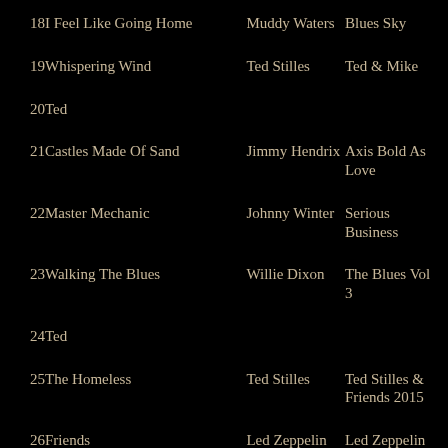18I Feel Like Going Home — Muddy Waters — Blues Sky
19Whispering Wind — Ted Stilles — Ted & Mike
20Ted
21Castles Made Of Sand — Jimmy Hendrix — Axis Bold As Love
22Master Mechanic — Johnny Winter — Serious Business
23Walking The Blues — Willie Dixon — The Blues Vol 3
24Ted
25The Homeless — Ted Stilles — Ted Stilles & Friends 2015
26Friends — Led Zeppelin — Led Zeppelin lll